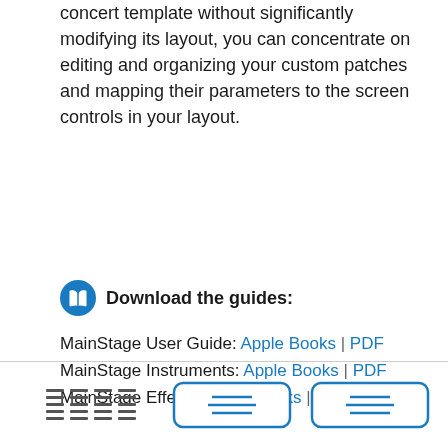concert template without significantly modifying its layout, you can concentrate on editing and organizing your custom patches and mapping their parameters to the screen controls in your layout.
Download the guides:
MainStage User Guide: Apple Books | PDF
MainStage Instruments: Apple Books | PDF
MainStage Effects: Apple Books | PDF
[Figure (other): Page footer navigation bar with line/menu icons and two rectangular buttons with list icons, styled with blue borders.]